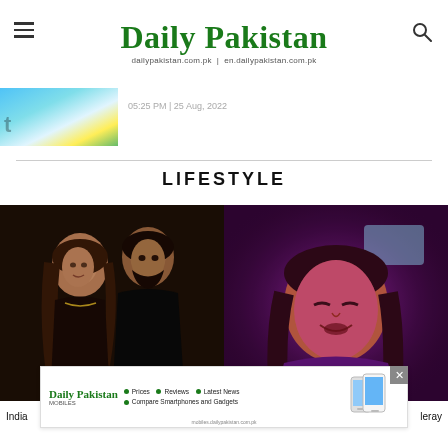Daily Pakistan | dailypakistan.com.pk | en.dailypakistan.com.pk
05:25 PM | 25 Aug, 2022
LIFESTYLE
[Figure (photo): A woman and man posing together, drama promotional photo]
[Figure (photo): A young man under pink/magenta lighting, selfie style photo]
India
leray
[Figure (other): Daily Pakistan Mobiles advertisement banner with phone images, prices, reviews, latest news, compare smartphones and gadgets]